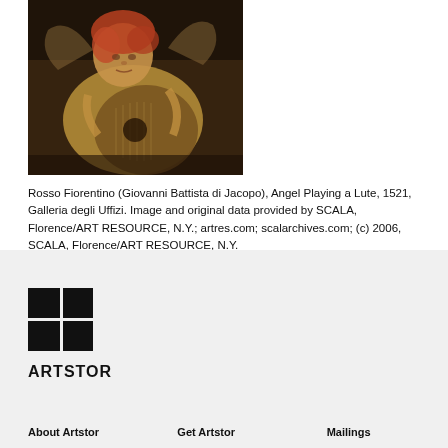[Figure (photo): Painting of an angel playing a lute, dark tones, child figure with reddish hair holding a lute instrument]
Rosso Fiorentino (Giovanni Battista di Jacopo), Angel Playing a Lute, 1521, Galleria degli Uffizi. Image and original data provided by SCALA, Florence/ART RESOURCE, N.Y.; artres.com; scalarchives.com; (c) 2006, SCALA, Florence/ART RESOURCE, N.Y.
[Figure (logo): ARTSTOR logo with grid of black squares and text ARTSTOR]
About Artstor
Get Artstor
Mailings